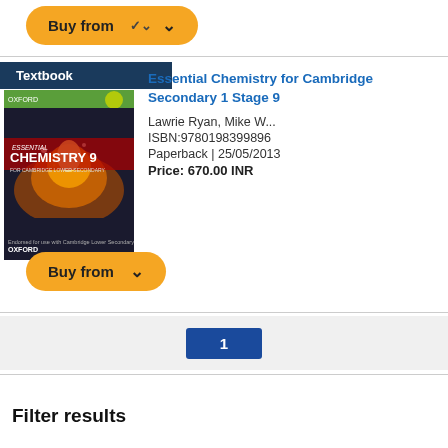[Figure (other): Orange rounded 'Buy from' button with chevron, at top of page]
[Figure (other): Book listing card with textbook label, book cover image for Essential Chemistry 9 (Oxford), and book details]
Essential Chemistry for Cambridge Secondary 1 Stage 9
Lawrie Ryan, Mike W...
ISBN:9780198399896
Paperback | 25/05/2013
Price: 670.00 INR
[Figure (other): Orange rounded 'Buy from' button with chevron]
[Figure (other): Pagination bar showing page 1 highlighted in blue]
Filter results